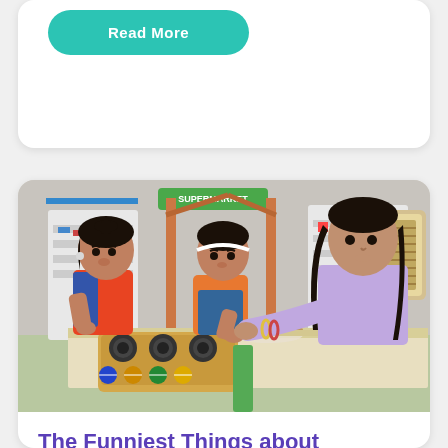[Figure (other): Partial view of a card with a teal 'Read More' button]
[Figure (photo): Photo of two young girls and a teacher/adult playing with a wooden toy kitchen stove at a table in a colorful classroom with toy supermarket setup in background]
The Funniest Things about